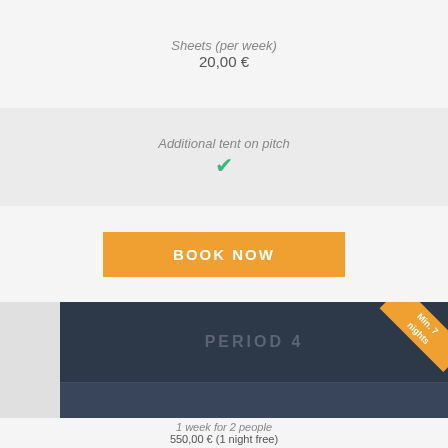Sheets (per week)
20,00 €
Additional tent on pitch ✓
BOOK NOW
PERIOD 4
Min. 7 nights
From 16/07 to 20/08
1 week for 2 people
550,00 € (1 night free)